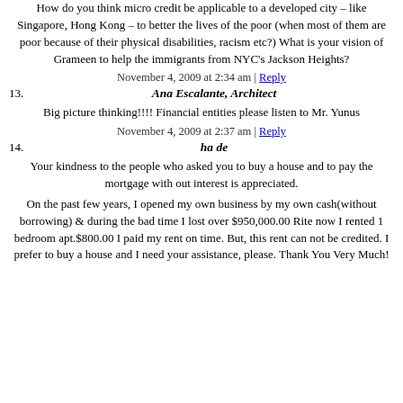How do you think micro credit be applicable to a developed city – like Singapore, Hong Kong – to better the lives of the poor (when most of them are poor because of their physical disabilities, racism etc?) What is your vision of Grameen to help the immigrants from NYC's Jackson Heights?
November 4, 2009 at 2:34 am | Reply
13.   Ana Escalante, Architect
Big picture thinking!!!! Financial entities please listen to Mr. Yunus
November 4, 2009 at 2:37 am | Reply
14.   ha de
Your kindness to the people who asked you to buy a house and to pay the mortgage with out interest is appreciated.
On the past few years, I opened my own business by my own cash(without borrowing) & during the bad time I lost over $950,000.00 Rite now I rented 1 bedroom apt.$800.00 I paid my rent on time. But, this rent can not be credited. I prefer to buy a house and I need your assistance, please. Thank You Very Much!